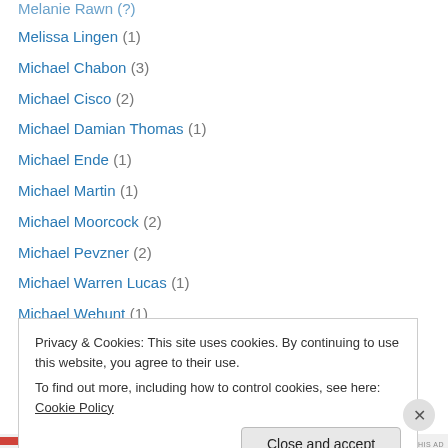Melanie Rawn (?)
Melissa Lingen (1)
Michael Chabon (3)
Michael Cisco (2)
Michael Damian Thomas (1)
Michael Ende (1)
Michael Martin (1)
Michael Moorcock (2)
Michael Pevzner (2)
Michael Warren Lucas (1)
Michael Wehunt (1)
Michael West (1)
Michael Whelan (1)
Michelle Sagara (2)
Privacy & Cookies: This site uses cookies. By continuing to use this website, you agree to their use. To find out more, including how to control cookies, see here: Cookie Policy
Close and accept